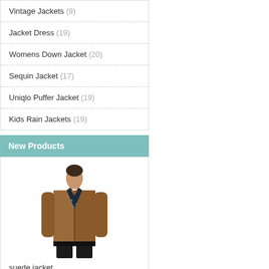Vintage Jackets (9)
Jacket Dress (19)
Womens Down Jacket (20)
Sequin Jacket (17)
Uniqlo Puffer Jacket (19)
Kids Rain Jackets (19)
New Products
[Figure (photo): Man wearing a brown suede bomber jacket over a dark floral shirt with dark pants]
suede jacket
$114.00  $71.00
Save: 38% off